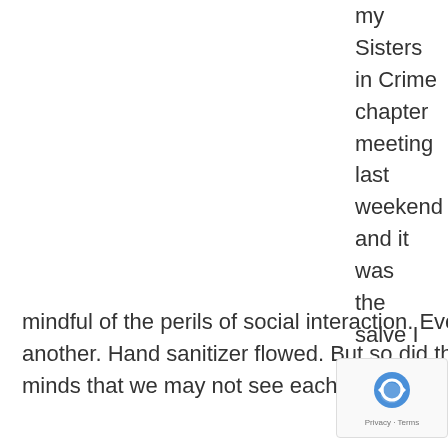my Sisters in Crime chapter meeting last weekend and it was the salve I didn't know I needed. Attendees were all mindful of the perils of social interaction. Everyone kept a respectful distance from one another. Hand sanitizer flowed. But so did the smiles. I think we all had in the back of our minds that we may not see each other in person again for a while.